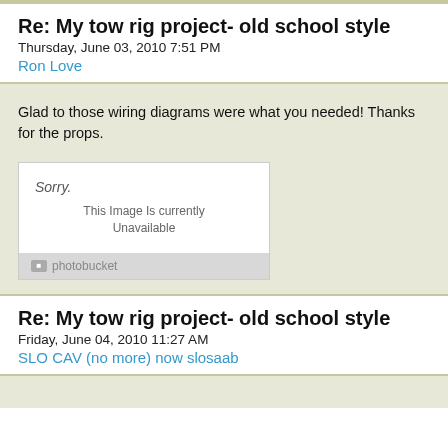Re: My tow rig project- old school style
Thursday, June 03, 2010 7:51 PM
Ron Love
Glad to those wiring diagrams were what you needed! Thanks for the props.
[Figure (screenshot): Photobucket image placeholder showing 'Sorry. This Image Is Currently Unavailable' with photobucket logo at bottom]
Re: My tow rig project- old school style
Friday, June 04, 2010 11:27 AM
SLO CAV (no more) now slosaab